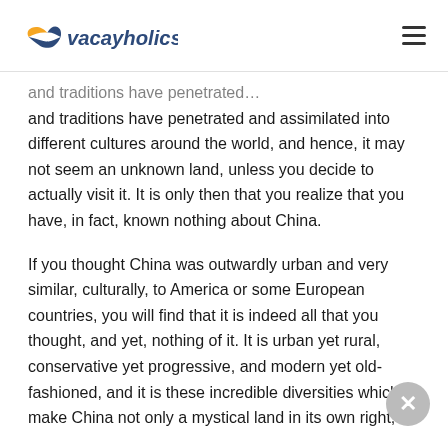vacayholics
and traditions have penetrated and assimilated into different cultures around the world, and hence, it may not seem an unknown land, unless you decide to actually visit it. It is only then that you realize that you have, in fact, known nothing about China.
If you thought China was outwardly urban and very similar, culturally, to America or some European countries, you will find that it is indeed all that you thought, and yet, nothing of it. It is urban yet rural, conservative yet progressive, and modern yet old-fashioned, and it is these incredible diversities which make China not only a mystical land in its own right,